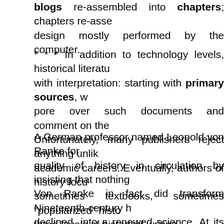blogs re-assembled into chapters; chapters re-assembled... design mostly performed by the computer.
* * * In addition to technology levels, historical literature... with interpretation: starting with primary sources, w... pore over such documents and comment on them... Unfortunately, many publishers reject anything unlike... academic careers. Eventually, authors of history focus... sometimes textbooks, sometimes "popularized" histo... three levels of historical writing.
A German professor named Leopold von Ranke form... quality of history in circulation by insisting that nothing... Von Ranke in fact did transform Nineteenth-century h... declined, into a renewed science. At its best, it aspire... also encased historians in a priesthood, worshipping... discouraging anyone without a PhD. from hazarding... bibliography per book is now a cost which modern pu... for the average graduate student because the dep... incidentally "turning off" the public about history. All th... provided independently (and to everyone) on the Inte...